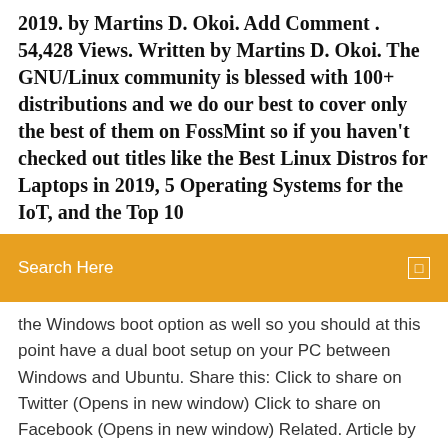2019. by Martins D. Okoi. Add Comment . 54,428 Views. Written by Martins D. Okoi. The GNU/Linux community is blessed with 100+ distributions and we do our best to cover only the best of them on FossMint so if you haven't checked out titles like the Best Linux Distros for Laptops in 2019, 5 Operating Systems for the IoT, and the Top 10
[Figure (other): Orange search bar overlay with 'Search Here' placeholder text and a small square icon on the right]
the Windows boot option as well so you should at this point have a dual boot setup on your PC between Windows and Ubuntu. Share this: Click to share on Twitter (Opens in new window) Click to share on Facebook (Opens in new window) Related. Article by libervisco / Useful Articles. Learn Unix. I run Unix Tutorial How to create a Live Ubuntu Linux USB key | Dell US Connect the USB key and start the system. At the Dell logo press F12 multiple times. Choose the USB key in the BIOS boot menu. Image 2: Boot menu. When Linux starts, you will be